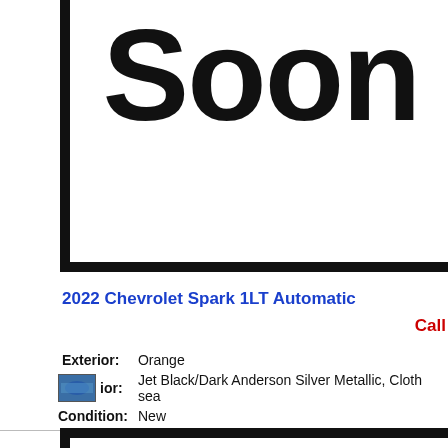[Figure (illustration): Coming soon image placeholder with large bold text 'Soon' inside a black-bordered white box]
2022 Chevrolet Spark 1LT Automatic
Call
| Exterior: | Orange |
| Interior: | Jet Black/Dark Anderson Silver Metallic, Cloth sea |
| Condition: | New |
[Figure (illustration): Bottom image box with black border, partially visible]